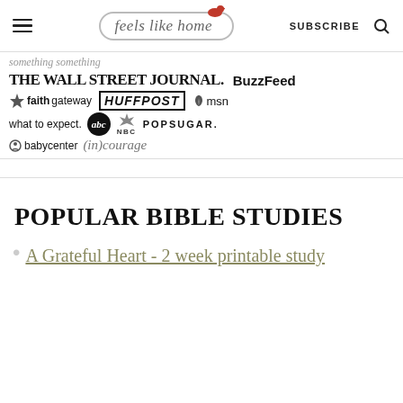feels like home — SUBSCRIBE
[Figure (logo): Press logos: The Wall Street Journal, BuzzFeed, faithgateway, HUFFPOST, msn, what to expect., abc, NBC, POPSUGAR., babycenter, (in)courage]
POPULAR BIBLE STUDIES
A Grateful Heart - 2 week printable study